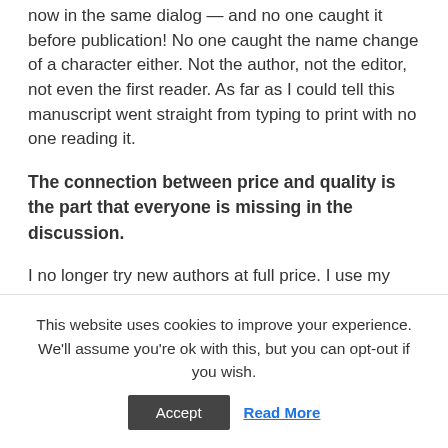now in the same dialog — and no one caught it before publication! No one caught the name change of a character either. Not the author, not the editor, not even the first reader. As far as I could tell this manuscript went straight from typing to print with no one reading it.
The connection between price and quality is the part that everyone is missing in the discussion.
I no longer try new authors at full price. I use my library and the used bookstores. These days I often check out bestselling authors and award-winners at the library before purchasing a hardcover. I used to regularly collect the hardcover editions of authors I enjoyed, but
This website uses cookies to improve your experience. We'll assume you're ok with this, but you can opt-out if you wish.
Accept   Read More